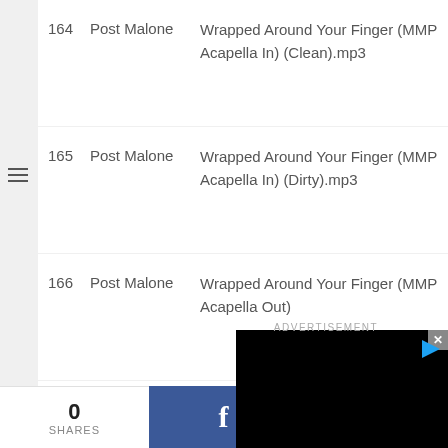164   Post Malone   Wrapped Around Your Finger (MMP Acapella In) (Clean).mp3
165   Post Malone   Wrapped Around Your Finger (MMP Acapella In) (Dirty).mp3
166   Post Malone   Wrapped Around Your Finger (MMP Acapella Out)
ADVERTISEMENT
0 SHARES